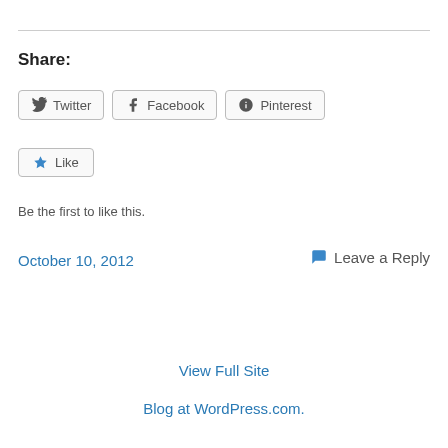Share:
[Figure (other): Social sharing buttons: Twitter, Facebook, Pinterest]
[Figure (other): Like button with star icon]
Be the first to like this.
October 10, 2012
Leave a Reply
View Full Site
Blog at WordPress.com.